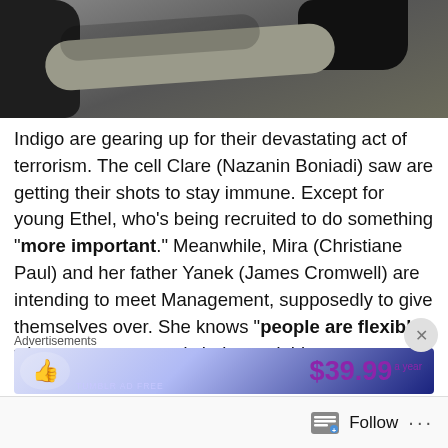[Figure (photo): Top portion of image showing hands with dark gloves touching or examining something, blurred background]
Indigo are gearing up for their devastating act of terrorism. The cell Clare (Nazanin Boniadi) saw are getting their shots to stay immune. Except for young Ethel, who’s being recruited to do something “more important.” Meanwhile, Mira (Christiane Paul) and her father Yanek (James Cromwell) are intending to meet Management, supposedly to give themselves over. She knows “people are flexible” when necessary, and she’s used this to an advantage all her life.
Ian (Nicholas Pinnock) has Emily Prime (Olivia Williams) and the wounded Howard (J.K. Simmons) in his custody. He takes them back to his side’s Office of Interchange. In
Advertisements
[Figure (screenshot): Advertisement banner showing $39.99 a year price with purple text and star/thumb graphics]
Follow ...